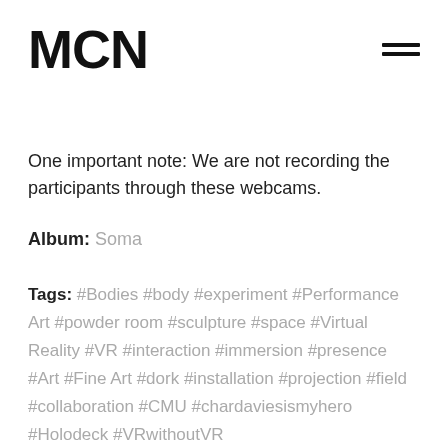MCN
One important note: We are not recording the participants through these webcams.
Album: Soma
Tags: #Bodies #body #experiment #Performance Art #powder room #sculpture #space #Virtual Reality #VR #interaction #immersion #presence #Art #Fine Art #dork #installation #projection #field #collaboration #CMU #chardaviesismyhero #Holodeck #VRwithoutVR